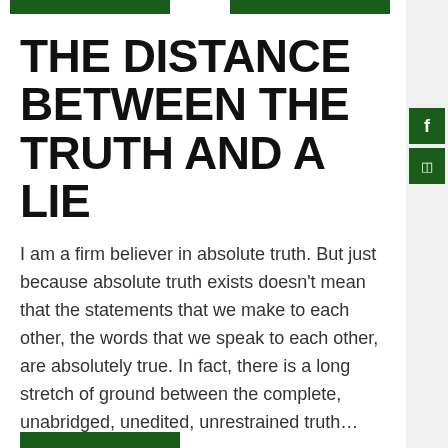[Figure (other): Green decorative speech bubble bars at the top of the page and sidebar social media buttons (Facebook, Instagram) on the right]
THE DISTANCE BETWEEN THE TRUTH AND A LIE
I am a firm believer in absolute truth. But just because absolute truth exists doesn't mean that the statements that we make to each other, the words that we speak to each other, are absolutely true. In fact, there is a long stretch of ground between the complete, unabridged, unedited, unrestrained truth… and a lie….